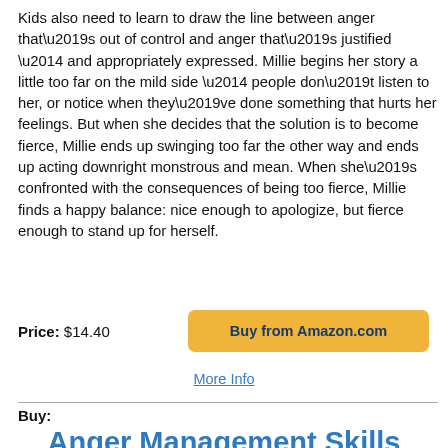Kids also need to learn to draw the line between anger that’s out of control and anger that’s justified — and appropriately expressed. Millie begins her story a little too far on the mild side — people don’t listen to her, or notice when they’ve done something that hurts her feelings. But when she decides that the solution is to become fierce, Millie ends up swinging too far the other way and ends up acting downright monstrous and mean. When she’s confronted with the consequences of being too fierce, Millie finds a happy balance: nice enough to apologize, but fierce enough to stand up for herself.
Price: $14.40
Buy from Amazon.com
More Info
Buy:
Anger Management Skills Workbook for Kids